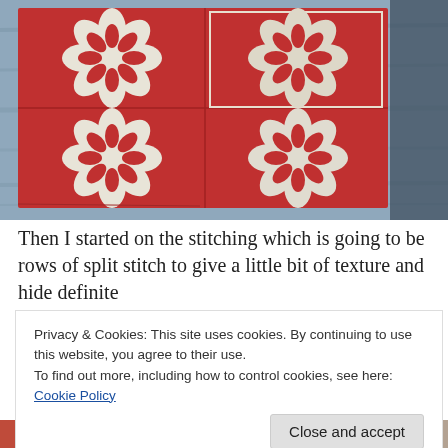[Figure (photo): A red Hawaiian-style quilt with white applique floral/cross patterns laid on a wooden surface. The quilt shows four blocks each with a large symmetrical white botanical motif on a red background.]
Then I started on the stitching which is going to be rows of split stitch to give a little bit of texture and hide definite
Privacy & Cookies: This site uses cookies. By continuing to use this website, you agree to their use.
To find out more, including how to control cookies, see here: Cookie Policy
[Figure (photo): Partial view of another textile or quilt at the bottom of the page, showing red and beige/cream fabric.]